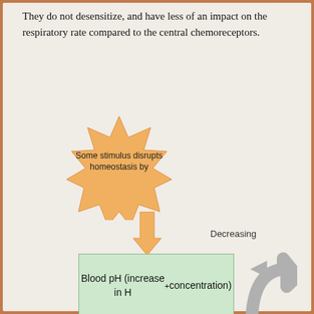They do not desensitize, and have less of an impact on the respiratory rate compared to the central chemoreceptors.
[Figure (flowchart): Homeostasis flowchart showing: starburst shape 'Some stimulus disrupts homeostasis by', then arrow down labeled 'Decreasing', leading to green box 'Blood pH (increase in H+ concentration)', then arrow down to blue 'Receptors' box with two columns: 'Central chemoreceptors in medulla oblongata' and 'Peripheral chemoreceptors in aortic and carotid bodies'. A large gray curved arrow on the right returns upward.]